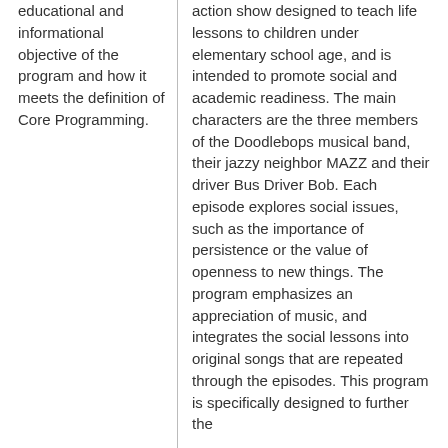educational and informational objective of the program and how it meets the definition of Core Programming.
action show designed to teach life lessons to children under elementary school age, and is intended to promote social and academic readiness. The main characters are the three members of the Doodlebops musical band, their jazzy neighbor MAZZ and their driver Bus Driver Bob. Each episode explores social issues, such as the importance of persistence or the value of openness to new things. The program emphasizes an appreciation of music, and integrates the social lessons into original songs that are repeated through the episodes. This program is specifically designed to further the